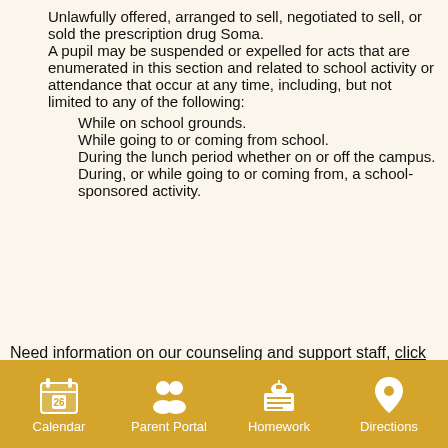16. Unlawfully offered, arranged to sell, negotiated to sell, or sold the prescription drug Soma.
17. A pupil may be suspended or expelled for acts that are enumerated in this section and related to school activity or attendance that occur at any time, including, but not limited to any of the following:
1. While on school grounds.
2. While going to or coming from school.
3. During the lunch period whether on or off the campus.
4. During, or while going to or coming from, a school-sponsored activity.
Need information on our counseling and support staff, click here.
Calendar | Parent Portal | Homework | Directions